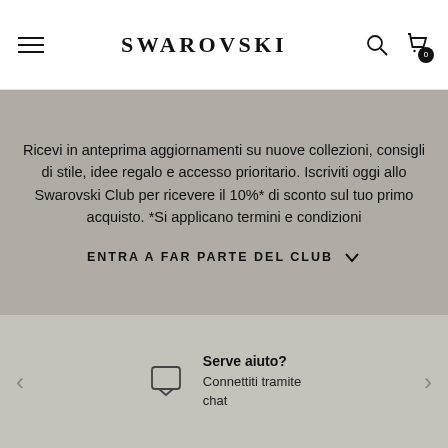SWAROVSKI
Ricevi in anteprima aggiornamenti su nuove collezioni, consigli di stile, idee regalo e accesso prioritario. Iscriviti oggi allo Swarovski Club per ricevere il 10%* di sconto sul tuo primo acquisto. *Si applicano termini e condizioni
ENTRA A FAR PARTE DEL CLUB
Serve aiuto? Connettiti tramite chat